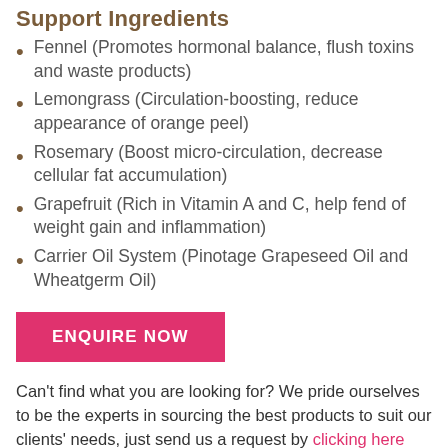Support Ingredients
Fennel (Promotes hormonal balance, flush toxins and waste products)
Lemongrass (Circulation-boosting, reduce appearance of orange peel)
Rosemary (Boost micro-circulation, decrease cellular fat accumulation)
Grapefruit (Rich in Vitamin A and C, help fend of weight gain and inflammation)
Carrier Oil System (Pinotage Grapeseed Oil and Wheatgerm Oil)
ENQUIRE NOW
Can't find what you are looking for? We pride ourselves to be the experts in sourcing the best products to suit our clients' needs, just send us a request by clicking here and